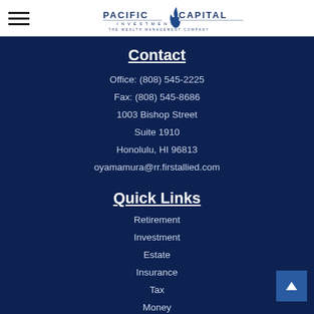[Figure (logo): Pacific Capital Investments - The Wealth Management Company logo with flame icon]
Contact
Office: (808) 545-2225
Fax: (808) 545-8686
1003 Bishop Street
Suite 1910
Honolulu, HI 96813
oyamamura@rr.firstallied.com
Quick Links
Retirement
Investment
Estate
Insurance
Tax
Money
Lifestyle
All Articles
All Videos
All Calculators